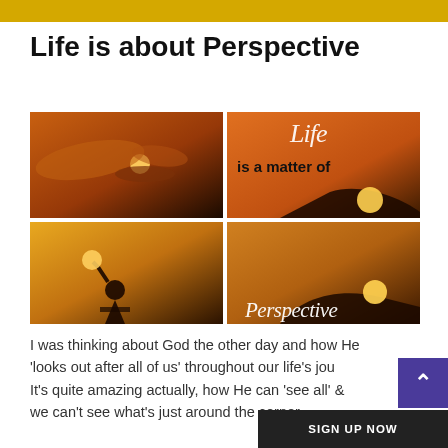Life is about Perspective
[Figure (photo): Composite of four images: top-left shows hands holding the sun at sunset, top-right shows orange background with script text 'Life' and bold text 'is a matter of', bottom-left shows a silhouette of a person holding a glowing orb at sunset, bottom-right shows a hand holding the sun at sunset with cursive text 'Perspective' overlaid.]
I was thinking about God the other day and how He 'looks out after all of us' throughout our life's jou... It's quite amazing actually, how He can 'see all' ... we can't see what's just around the corner.